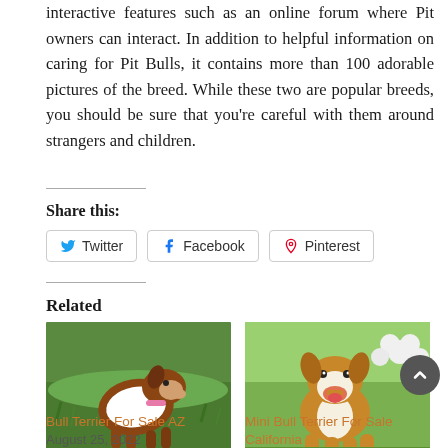interactive features such as an online forum where Pit owners can interact. In addition to helpful information on caring for Pit Bulls, it contains more than 100 adorable pictures of the breed. While these two are popular breeds, you should be sure that you’re careful with them around strangers and children.
Share this:
Twitter  Facebook  Pinterest
Related
[Figure (photo): Bull Terrier dog standing on grass]
Bull Terrier For Sale AZ
August 25, 2022
[Figure (photo): Mini Bull Terrier running outdoors with flowers in background]
Mini Bull Terrier For Sale California